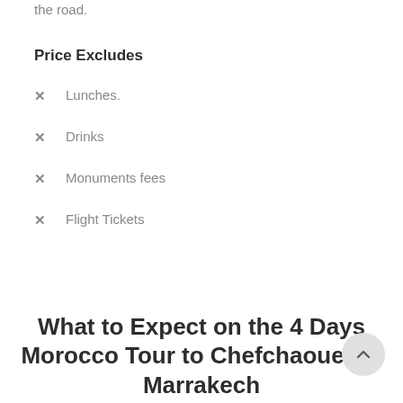the road.
Price Excludes
Lunches.
Drinks
Monuments fees
Flight Tickets
What to Expect on the 4 Days Morocco Tour to Chefchaouen from Marrakech